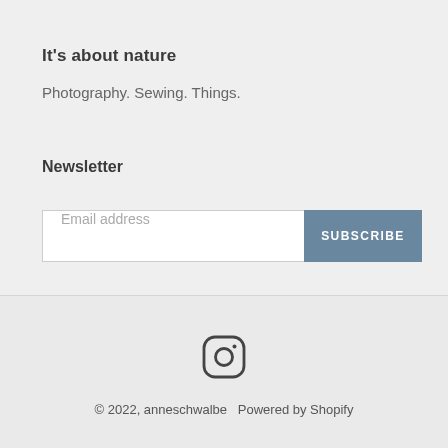It's about nature
Photography. Sewing. Things.
Newsletter
[Figure (other): Email address input field with SUBSCRIBE button]
[Figure (logo): Instagram icon]
© 2022, anneschwalbe  Powered by Shopify